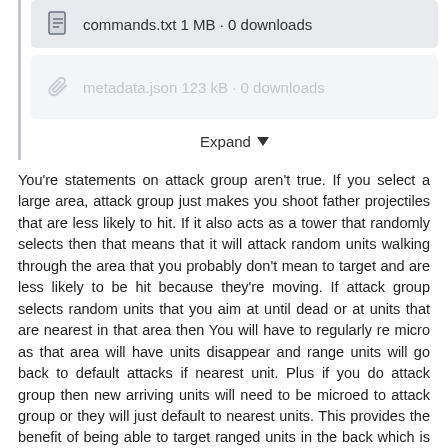[Figure (screenshot): File attachment item showing 'commands.txt 1 MB · 0 downloads' with a document icon, inside a bordered left-side section]
[Figure (screenshot): File attachment item showing 'metadata.json 123 kB · 0 downloads' with a paperclip icon, muted/greyed out appearance]
Expand ▾
You're statements on attack group aren't true. If you select a large area, attack group just makes you shoot father projectiles that are less likely to hit. If it also acts as a tower that randomly selects then that means that it will attack random units walking through the area that you probably don't mean to target and are less likely to be hit because they're moving. If attack group selects random units that you aim at until dead or at units that are nearest in that area then You will have to regularly re micro as that area will have units disappear and range units will go back to default attacks if nearest unit. Plus if you do attack group then new arriving units will need to be microed to attack group or they will just default to nearest units. This provides the benefit of being able to target ranged units in the back which is why this whole discussion exists so idk why you don't think it provides